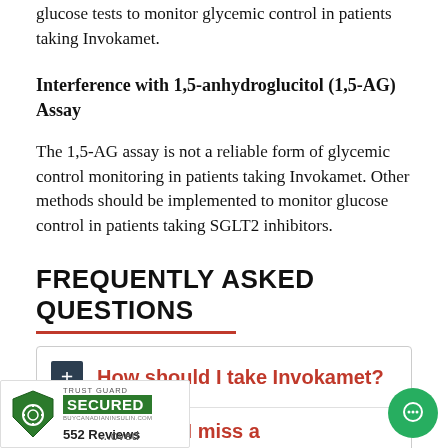glucose tests to monitor glycemic control in patients taking Invokamet.
Interference with 1,5-anhydroglucitol (1,5-AG) Assay
The 1,5-AG assay is not a reliable form of glycemic control monitoring in patients taking Invokamet. Other methods should be implemented to monitor glucose control in patients taking SGLT2 inhibitors.
FREQUENTLY ASKED QUESTIONS
How should I take Invokamet?
...hould I do if I miss a
552 Reviews TRUST GUARD SECURED BUYCANADIANINSULIN.COM ...oved